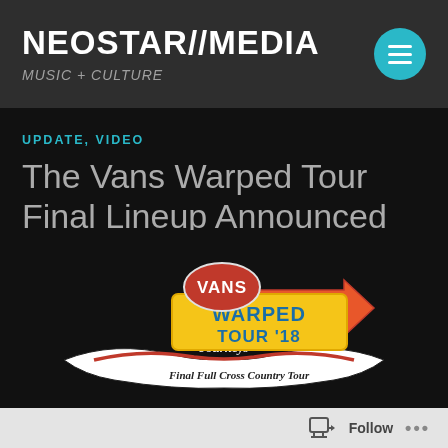NEOSTAR//MEDIA | MUSIC + CULTURE
UPDATE, VIDEO
The Vans Warped Tour Final Lineup Announced
[Figure (logo): Vans Warped Tour '18 logo with arrow, ribbon banner reading 'Final Full Cross Country Tour' and Journeys sponsorship, on black background]
Follow ...